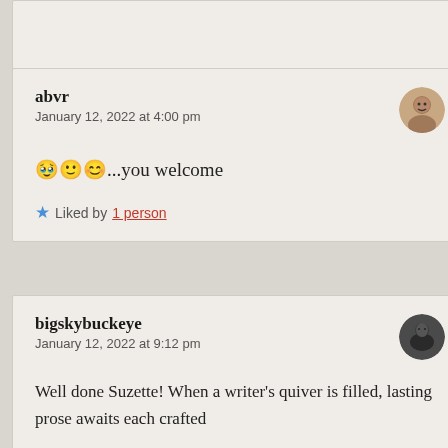abvr
January 12, 2022 at 4:00 pm
🥹🙂😊...you welcome
Liked by 1 person
bigskybuckeye
January 12, 2022 at 9:12 pm
Well done Suzette! When a writer's quiver is filled, lasting prose awaits each crafted